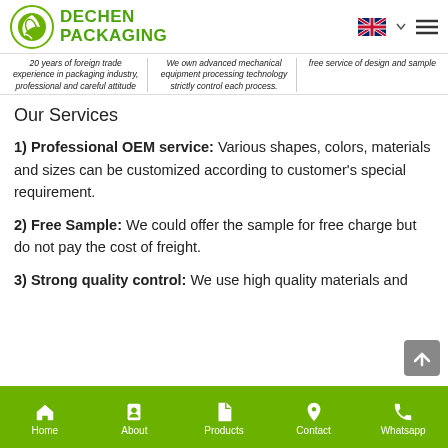DECHEN PACKAGING
20 years of foreign trade experience in packaging industry, professional and careful attitude | We own advanced mechanical equipment processing technology strictly control each process. | free service of design and sample
Our Services
1) Professional OEM service: Various shapes, colors, materials and sizes can be customized according to customer's special requirement.
2) Free Sample: We could offer the sample for free charge but do not pay the cost of freight.
3) Strong quality control: We use high quality materials and
Home | About | Products | Contact | Whatsapp